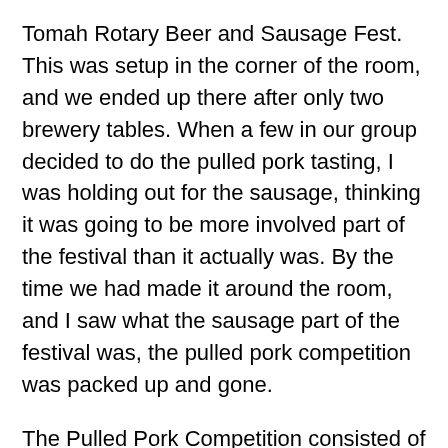Tomah Rotary Beer and Sausage Fest.  This was setup in the corner of the room, and we ended up there after only two brewery tables.  When a few in our group decided to do the pulled pork tasting, I was holding out for the sausage, thinking it was going to be more involved part of the festival than it actually was.  By the time we had made it around the room, and I saw what the sausage part of the festival was, the pulled pork competition was packed up and gone.
The Pulled Pork Competition consisted of five crock pots of different pulled pork entries.  The contestants appeared to be all Rotarians.  You could purchase a ticket for $5, which allowed you to taste all five pulled pork entries. They were using 4oz Cups for each of each of the each cups...